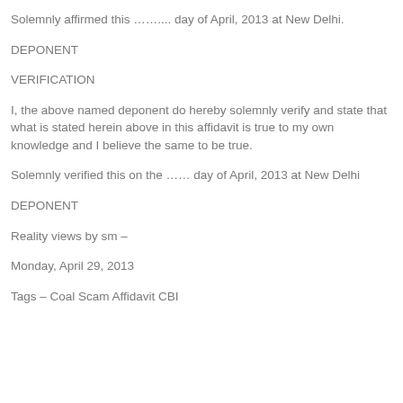Solemnly affirmed this ……... day of April, 2013 at New Delhi.
DEPONENT
VERIFICATION
I, the above named deponent do hereby solemnly verify and state that what is stated herein above in this affidavit is true to my own knowledge and I believe the same to be true.
Solemnly verified this on the …… day of April, 2013 at New Delhi
DEPONENT
Reality views by sm –
Monday, April 29, 2013
Tags – Coal Scam Affidavit CBI